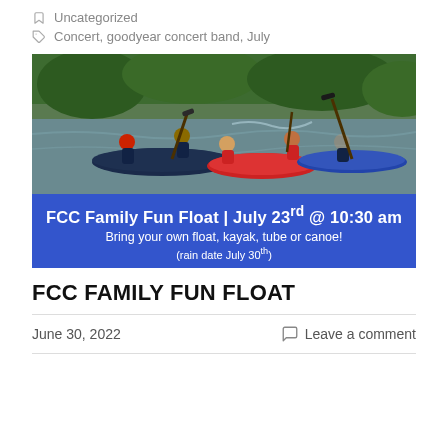Uncategorized
Concert, goodyear concert band, July
[Figure (photo): People kayaking and floating on a river, with text overlay: FCC Family Fun Float | July 23rd @ 10:30 am. Bring your own float, kayak, tube or canoe! (rain date July 30th)]
FCC FAMILY FUN FLOAT
June 30, 2022
Leave a comment